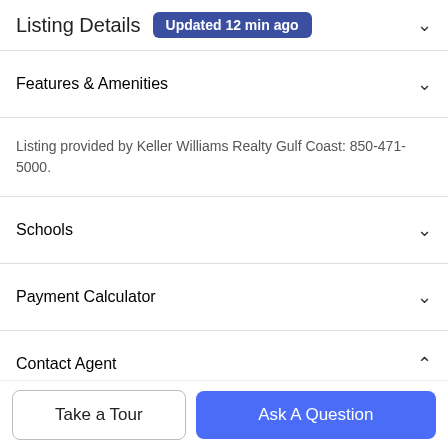Listing Details Updated 12 min ago
Features & Amenities
Listing provided by Keller Williams Realty Gulf Coast: 850-471-5000.
Schools
Payment Calculator
Contact Agent
[Figure (photo): Circular profile photo of a male real estate agent, partially visible at bottom of Contact Agent section]
Take a Tour
Ask A Question